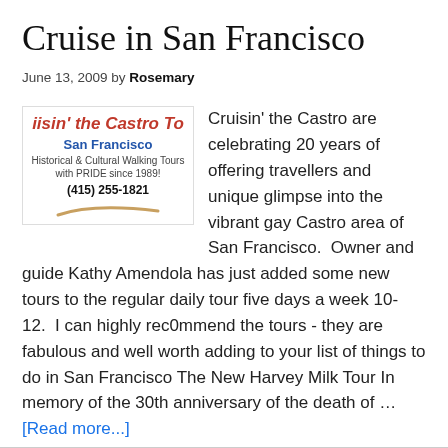Cruise in San Francisco
June 13, 2009 by Rosemary
[Figure (logo): Cruisin' the Castro Tours logo — San Francisco, Historical & Cultural Walking Tours with PRIDE since 1989!, (415) 255-1821, with a red swoosh decoration]
Cruisin' the Castro are celebrating 20 years of offering travellers and unique glimpse into the vibrant gay Castro area of San Francisco.  Owner and guide Kathy Amendola has just added some new tours to the regular daily tour five days a week 10-12.  I can highly rec0mmend the tours - they are fabulous and well worth adding to your list of things to do in San Francisco The New Harvey Milk Tour In memory of the 30th anniversary of the death of … [Read more...]